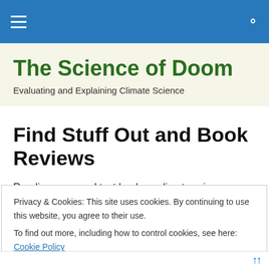Navigation bar with hamburger menu and search icon
The Science of Doom
Evaluating and Explaining Climate Science
Find Stuff Out and Book Reviews
Reading one good text book on climate science can save
Privacy & Cookies: This site uses cookies. By continuing to use this website, you agree to their use.
To find out more, including how to control cookies, see here: Cookie Policy